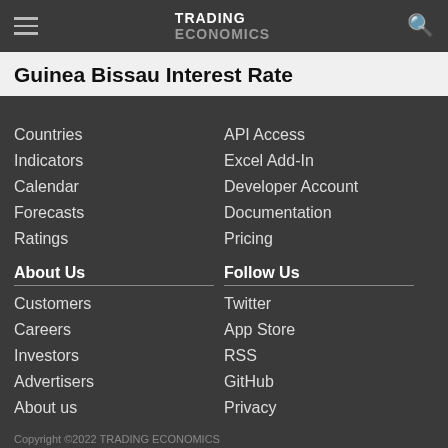TRADING ECONOMICS
Guinea Bissau Interest Rate
Countries
Indicators
Calendar
Forecasts
Ratings
API Access
Excel Add-In
Developer Account
Documentation
Pricing
About Us
Customers
Careers
Investors
Advertisers
About us
Follow Us
Twitter
App Store
RSS
GitHub
Privacy
Copyright ©2022 TRADING ECONOMICS
All Rights Reserved